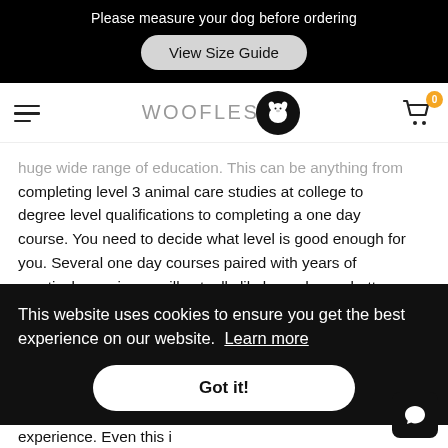Please measure your dog before ordering
View Size Guide
[Figure (logo): WOOFLES logo with hamburger menu icon on left, WOOFLES text in grey with black circular dog icon badge, and shopping cart with 0 badge on right]
huge wide range of education. This can be anything from completing level 3 animal care studies at college to degree level qualifications to completing a one day course. You need to decide what level is good enough for you. Several one day courses paired with years of practical experience will actually likely produce a better
This website uses cookies to ensure you get the best experience on our website. Learn more
Got it!
experience. Even this i